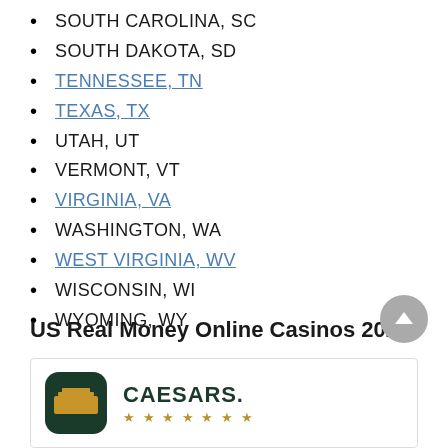SOUTH CAROLINA, SC
SOUTH DAKOTA, SD
TENNESSEE, TN
TEXAS, TX
UTAH, UT
VERMONT, VT
VIRGINIA, VA
WASHINGTON, WA
WEST VIRGINIA, WV
WISCONSIN, WI
WYOMING, WY
US Real Money Online Casinos 2022
[Figure (logo): Caesars casino logo with dark green rounded square icon and CAESARS text in bold dark green, with star rating below]